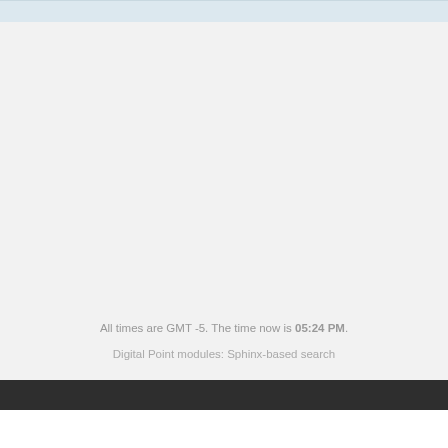All times are GMT -5. The time now is 05:24 PM.
Digital Point modules: Sphinx-based search